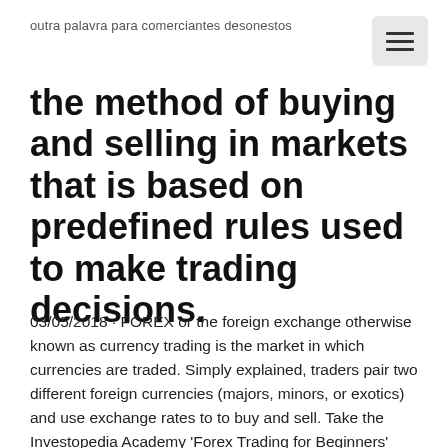outra palavra para comerciantes desonestos
the method of buying and selling in markets that is based on predefined rules used to make trading decisions.
03/05/2018 · FOREX or the foreign exchange otherwise known as currency trading is the market in which currencies are traded. Simply explained, traders pair two different foreign currencies (majors, minors, or exotics) and use exchange rates to to buy and sell. Take the Investopedia Academy 'Forex Trading for Beginners' course: https://bit.ly The market value of CEO Elon Musk's electric vehicle (EV) company Tesla Inc. (TSLA) has rebounded by almost 92% and $29 billion from its 52-week low on June 3, …